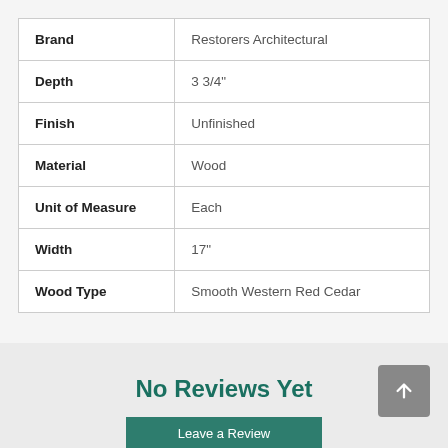|  |  |
| --- | --- |
| Brand | Restorers Architectural |
| Depth | 3 3/4" |
| Finish | Unfinished |
| Material | Wood |
| Unit of Measure | Each |
| Width | 17" |
| Wood Type | Smooth Western Red Cedar |
No Reviews Yet
Leave a Review